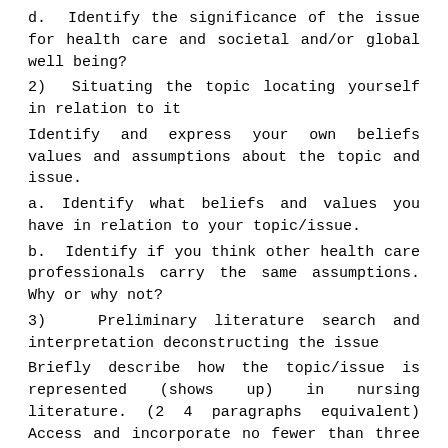d. Identify the significance of the issue for health care and societal and/or global well being?
2) Situating the topic locating yourself in relation to it
Identify and express your own beliefs values and assumptions about the topic and issue.
a. Identify what beliefs and values you have in relation to your topic/issue.
b. Identify if you think other health care professionals carry the same assumptions. Why or why not?
3) Preliminary literature search and interpretation deconstructing the issue
Briefly describe how the topic/issue is represented (shows up) in nursing literature. (2 4 paragraphs equivalent) Access and incorporate no fewer than three (3) articles from PEER-REVIEWED journals.
a. Provide a short summary of the articles you have chosen.
b. Identify what key words produced the most helpful